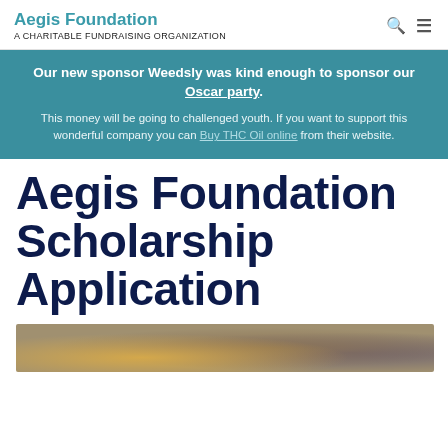Aegis Foundation — A CHARITABLE FUNDRAISING ORGANIZATION
Our new sponsor Weedsly was kind enough to sponsor our Oscar party. This money will be going to challenged youth. If you want to support this wonderful company you can Buy THC Oil online from their website.
Aegis Foundation Scholarship Application
[Figure (photo): Photo of graduates in caps and gowns, partially visible at the bottom of the page]